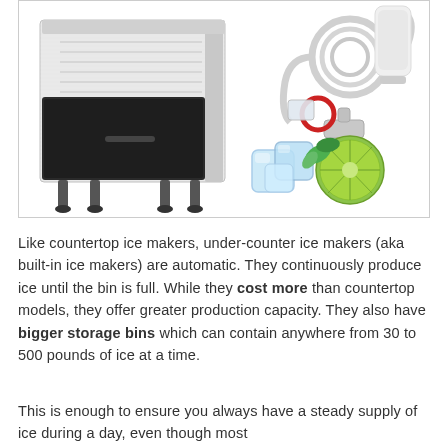[Figure (photo): An under-counter commercial ice maker machine (stainless steel with black bin) shown alongside accessories including hoses, fittings, ice cubes, and a lime slice.]
Like countertop ice makers, under-counter ice makers (aka built-in ice makers) are automatic. They continuously produce ice until the bin is full. While they cost more than countertop models, they offer greater production capacity. They also have bigger storage bins which can contain anywhere from 30 to 500 pounds of ice at a time.
This is enough to ensure you always have a steady supply of ice during a day, even though most